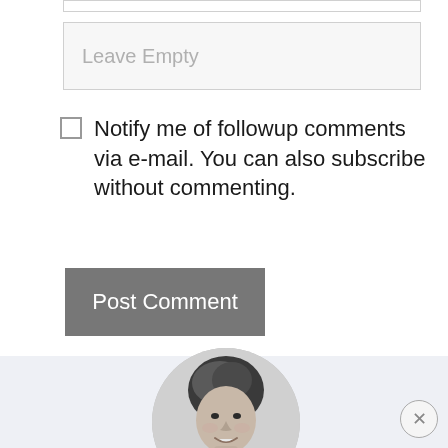[Figure (screenshot): Top partial input field (text box) at the very top of the page, mostly cut off, showing only the bottom border.]
[Figure (screenshot): A form text input field with placeholder text 'Leave Empty' in light gray, with light gray border and background.]
Notify me of followup comments via e-mail. You can also subscribe without commenting.
[Figure (screenshot): A gray 'Post Comment' button.]
[Figure (photo): A circular cropped black-and-white portrait photo of a person (face partially visible), against a light blue-gray background section at the bottom of the page. An X close button is in the lower right corner.]